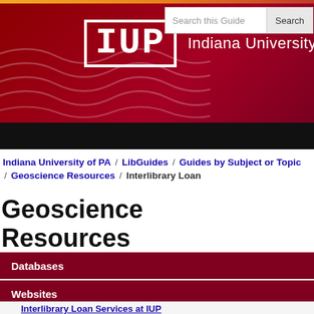[Figure (logo): IUP (Indiana University of Pennsylvania) header banner with dark red/crimson background, wavy line decorations, IUP logo in white box-framed lettering, and 'Indiana University of' text in white]
Indiana University of PA / LibGuides / Guides by Subject or Topic / Geoscience Resources / Interlibrary Loan
Geoscience Resources
Databases
Websites
Scientific Literature
Downloads
Interlibrary Loan
Interlibrary Loan Services at IUP